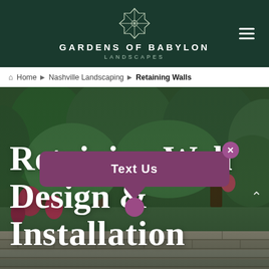[Figure (logo): Gardens of Babylon Landscapes logo — geometric snowflake/star outline in white on dark green header]
GARDENS OF BABYLON LANDSCAPES
Home › Nashville Landscaping › Retaining Walls
[Figure (photo): Hero background photo of a lush garden with green foliage, flowering plants, and a stone retaining wall]
Retaining Wall Design & Installation
Text Us
Retaining Wall Company in Tennessee